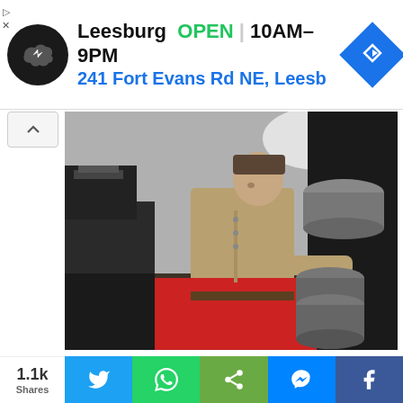[Figure (screenshot): Advertisement banner for a store in Leesburg showing logo, OPEN status, hours 10AM-9PM, and address 241 Fort Evans Rd NE, Leesb]
[Figure (photo): Video screenshot showing a person in a khaki uniform bending over in a kitchen, handling metal pots on a red surface]
Video Inputs: Brijendra Dubey Video Producer: Naman Shah Video Editors: Abhishek Sharma,
[Figure (screenshot): Social share bar showing 1.1k Shares with Twitter, WhatsApp, Share, Messenger, and Facebook buttons]